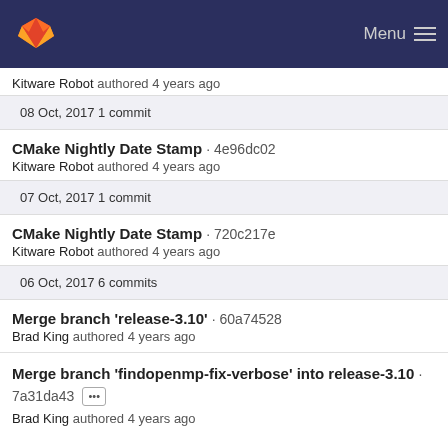GitLab Menu
Kitware Robot authored 4 years ago
08 Oct, 2017 1 commit
CMake Nightly Date Stamp · 4e96dc02
Kitware Robot authored 4 years ago
07 Oct, 2017 1 commit
CMake Nightly Date Stamp · 720c217e
Kitware Robot authored 4 years ago
06 Oct, 2017 6 commits
Merge branch 'release-3.10' · 60a74528
Brad King authored 4 years ago
Merge branch 'findopenmp-fix-verbose' into release-3.10 · 7a31da43 [...] Brad King authored 4 years ago